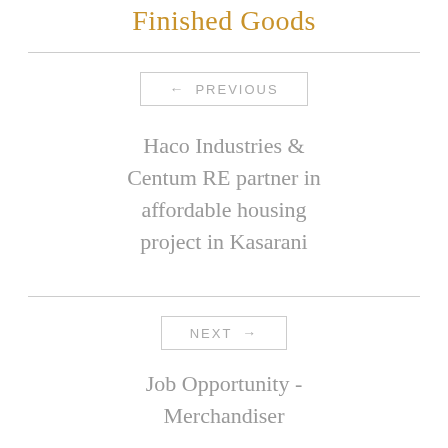Finished Goods
← PREVIOUS
Haco Industries & Centum RE partner in affordable housing project in Kasarani
NEXT →
Job Opportunity - Merchandiser